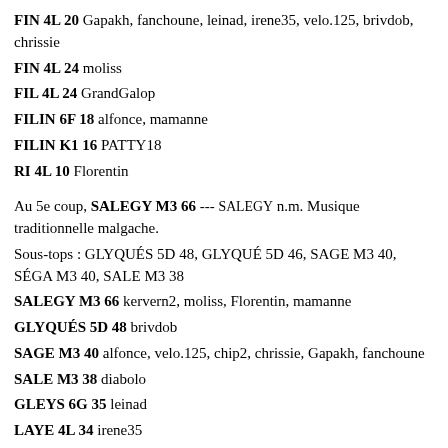FIN 4L 20 Gapakh, fanchoune, leinad, irene35, velo.125, brivdob, chrissie
FIN 4L 24 moliss
FIL 4L 24 GrandGalop
FILIN 6F 18 alfonce, mamanne
FILIN K1 16 PATTY18
RI 4L 10 Florentin
Au 5e coup, SALEGY M3 66 --- SALEGY n.m. Musique traditionnelle malgache.
Sous-tops : GLYQUÉS 5D 48, GLYQUÉ 5D 46, SAGE M3 40, SÉGA M3 40, SALE M3 38
SALEGY M3 66 kervern2, moliss, Florentin, mamanne
GLYQUÉS 5D 48 brivdob
SAGE M3 40 alfonce, velo.125, chip2, chrissie, Gapakh, fanchoune
SALE M3 38 diabolo
GLEYS 6G 35 leinad
LAYE 4L 34 irene35
LAYES 6H 34 GrandGalop, CARO64
Au 6e coup, (R)ÉÉQUIPE 8A 122 --- RÉÉQUIPER v. [cj. aimer]. Sous-tops : PÉ(R)IÈQUE 8A 101, PIQUE(T)ÉE 8A 101, (D)ÉPIQUÉE 8A 101, (R)EPIQUÉE 8A 101, (A)PIQUÉE L8 90
(R)ÉÉQUIPE 8A 132 kervern2
(R)EPIQUÉE 8A 101 Gapakh, velo.125, melisse